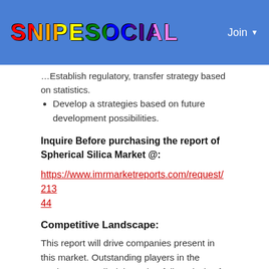SNIPESOCIAL | Join
Establish regulatory, transfer strategy based on statistics.
Develop a strategies based on future development possibilities.
Inquire Before purchasing the report of Spherical Silica Market @:
https://www.imrmarketreports.com/request/21344
Competitive Landscape:
This report will drive companies present in this market. Outstanding players in the market are studied through a full analysis of the company profile, product portfolio, production and manufacturing capabilities, technology and